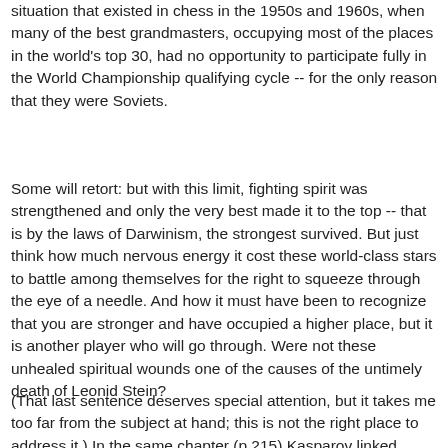situation that existed in chess in the 1950s and 1960s, when many of the best grandmasters, occupying most of the places in the world's top 30, had no opportunity to participate fully in the World Championship qualifying cycle -- for the only reason that they were Soviets.
Some will retort: but with this limit, fighting spirit was strengthened and only the very best made it to the top -- that is by the laws of Darwinism, the strongest survived. But just think how much nervous energy it cost these world-class stars to battle among themselves for the right to squeeze through the eye of a needle. And how it must have been to recognize that you are stronger and have occupied a higher place, but it is another player who will go through. Were not these unhealed spiritual wounds one of the causes of the untimely death of Leonid Stein?
(That last sentence deserves special attention, but it takes me too far from the subject at hand; this is not the right place to address it.) In the same chapter (p.215) Kasparov linked